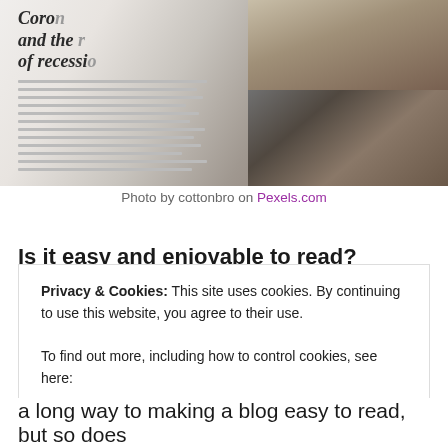[Figure (photo): A photo of an open magazine or book showing an article titled 'Corona... and the ... of recession...' with author name and columns of text. The right side shows an aerial photo of buildings/neighborhood. The photo appears to be taken at an angle on a surface.]
Photo by cottonbro on Pexels.com
Is it easy and enjoyable to read?
Privacy & Cookies: This site uses cookies. By continuing to use this website, you agree to their use.
To find out more, including how to control cookies, see here:
Cookie Policy
CLOSE AND ACCEPT
a long way to making a blog easy to read, but so does